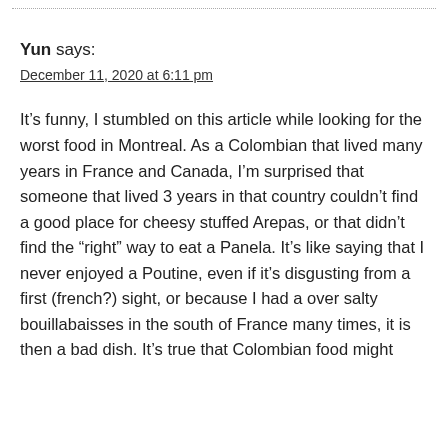Yun says:
December 11, 2020 at 6:11 pm
It’s funny, I stumbled on this article while looking for the worst food in Montreal. As a Colombian that lived many years in France and Canada, I’m surprised that someone that lived 3 years in that country couldn’t find a good place for cheesy stuffed Arepas, or that didn’t find the “right” way to eat a Panela. It’s like saying that I never enjoyed a Poutine, even if it’s disgusting from a first (french?) sight, or because I had a over salty bouillabaisses in the south of France many times, it is then a bad dish. It’s true that Colombian food might